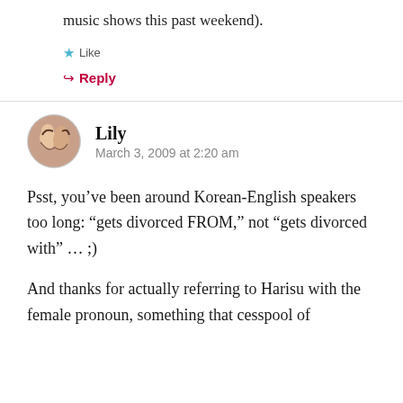music shows this past weekend).
Like
Reply
Lily
March 3, 2009 at 2:20 am
Psst, you’ve been around Korean-English speakers too long: “gets divorced FROM,” not “gets divorced with” … ;)
And thanks for actually referring to Harisu with the female pronoun, something that cesspool of